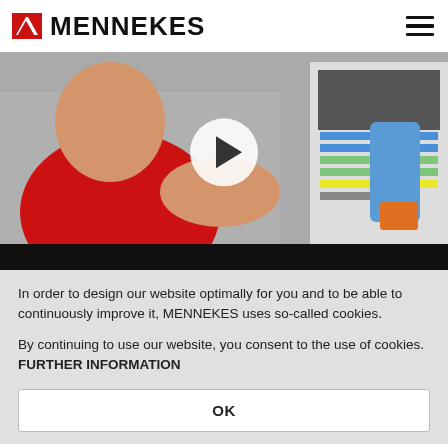MENNEKES
[Figure (screenshot): Video thumbnail showing a technician in a red shirt working on an electrical panel/distribution board with wiring. A white circular play button overlay is centered on the image.]
In order to design our website optimally for you and to be able to continuously improve it, MENNEKES uses so-called cookies.
By continuing to use our website, you consent to the use of cookies. FURTHER INFORMATION
OK